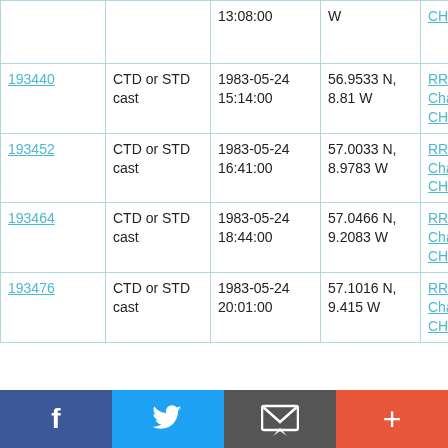| ID | Type | Date/Time | Position | Cruise |
| --- | --- | --- | --- | --- |
|  |  | 13:08:00 | W | CH7B/83 |
| 193440 | CTD or STD cast | 1983-05-24 15:14:00 | 56.9533 N, 8.81 W | RRS Challenger CH7B/83 |
| 193452 | CTD or STD cast | 1983-05-24 16:41:00 | 57.0033 N, 8.9783 W | RRS Challenger CH7B/83 |
| 193464 | CTD or STD cast | 1983-05-24 18:44:00 | 57.0466 N, 9.2083 W | RRS Challenger CH7B/83 |
| 193476 | CTD or STD cast | 1983-05-24 20:01:00 | 57.1016 N, 9.415 W | RRS Challenger CH7B/83 |